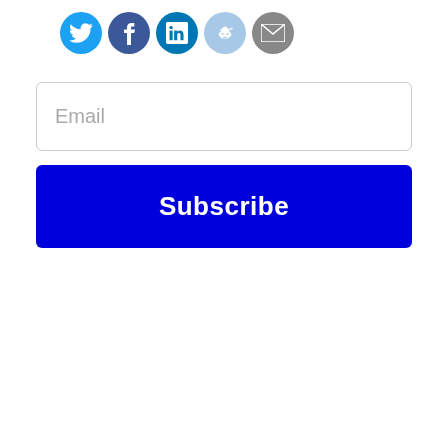[Figure (illustration): Row of five social media/share icons: Twitter (blue bird), Facebook (dark blue f), LinkedIn (blue in), Reddit (light blue alien), Email (grey envelope)]
Email
Subscribe